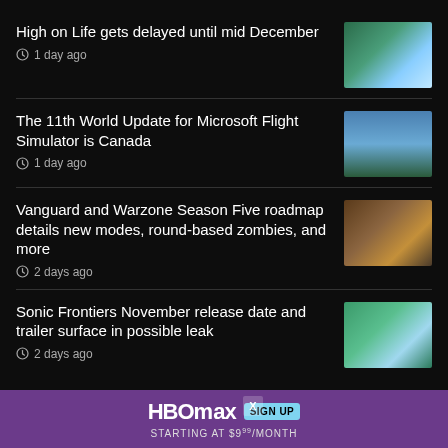High on Life gets delayed until mid December
1 day ago
[Figure (photo): High on Life game screenshot with colorful alien landscape]
The 11th World Update for Microsoft Flight Simulator is Canada
1 day ago
[Figure (photo): Microsoft Flight Simulator screenshot showing aircraft over Canada]
Vanguard and Warzone Season Five roadmap details new modes, round-based zombies, and more
2 days ago
[Figure (photo): Vanguard and Warzone Season Five promotional artwork]
Sonic Frontiers November release date and trailer surface in possible leak
2 days ago
[Figure (photo): Sonic Frontiers game screenshot with Sonic the Hedgehog]
[Figure (infographic): HBO Max advertisement: SIGN UP STARTING AT $9.99/MONTH]